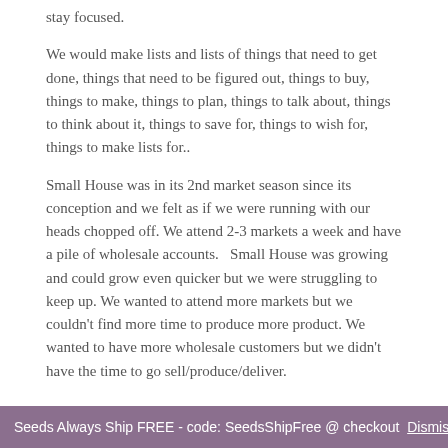stay focused.
We would make lists and lists of things that need to get done, things that need to be figured out, things to buy, things to make, things to plan, things to talk about, things to think about it, things to save for, things to wish for, things to make lists for..
Small House was in its 2nd market season since its conception and we felt as if we were running with our heads chopped off.  We attend 2-3 markets a week and have a pile of wholesale accounts.   Small House was growing and could grow even quicker but we were struggling to keep up.  We wanted to attend more markets but we couldn't find more time to produce more product.  We wanted to have more wholesale customers but we didn't have the time to go sell/produce/deliver.
Seeds Always Ship FREE - code: SeedsShipFree @ checkout  Dismiss